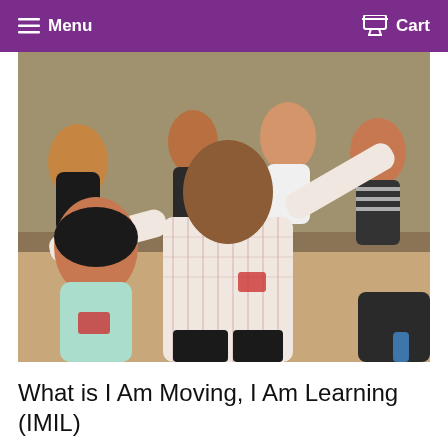Menu   Cart
[Figure (photo): A group of people in a large room doing a physical movement activity. A man in a white plaid shirt is prominently featured in the foreground with arms outstretched, and other participants including a woman in a light blue top are visible behind him, all wearing name badges.]
What is I Am Moving, I Am Learning (IMIL)